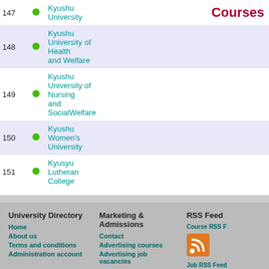| # |  | University |  |  | Courses |
| --- | --- | --- | --- | --- | --- |
| 147 | • | Kyushu University |  |  | Courses |
| 148 | • | Kyushu University of Health and Welfare |  |  |
| 149 | • | Kyushu University of Nursing and SocialWelfare |  |  |
| 150 | • | Kyushu Women's University |  |  |
| 151 | • | Kyusyu Lutheran College |  |  |
University Directory
Home
About us
Terms and conditions
Administration account
Marketing & Admissions
Contact
Advertising courses
Advertising job vacancies
Get the University Directory toolbar!
RSS Feed
Course RSS F
Job RSS Feed